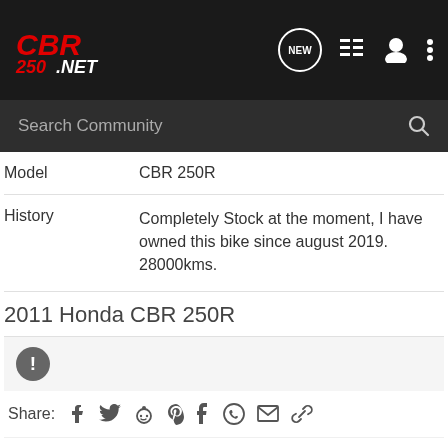CBR 250.NET — navigation header with search bar
| Field | Value |
| --- | --- |
| Model | CBR 250R |
| History | Completely Stock at the moment, I have owned this bike since august 2019. 28000kms. |
2011 Honda CBR 250R
Share: [social icons: Facebook, Twitter, Reddit, Pinterest, Tumblr, WhatsApp, Email, Link]
Comments
There are no comments to display.